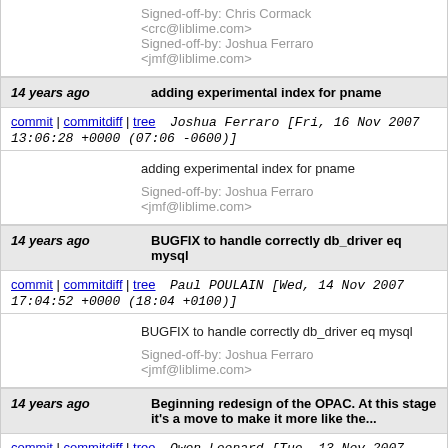Signed-off-by: Chris Cormack <crc@liblime.com>
Signed-off-by: Joshua Ferraro <jmf@liblime.com>
14 years ago	adding experimental index for pname
commit | commitdiff | tree	Joshua Ferraro [Fri, 16 Nov 2007 13:06:28 +0000 (07:06 -0600)]
adding experimental index for pname

Signed-off-by: Joshua Ferraro <jmf@liblime.com>
14 years ago	BUGFIX to handle correctly db_driver eq mysql
commit | commitdiff | tree	Paul POULAIN [Wed, 14 Nov 2007 17:04:52 +0000 (18:04 +0100)]
BUGFIX to handle correctly db_driver eq mysql

Signed-off-by: Joshua Ferraro <jmf@liblime.com>
14 years ago	Beginning redesign of the OPAC. At this stage it's a move to make it more like the...
commit | commitdiff | tree	Owen Leonard [Tue, 13 Nov 2007 22:20:37 +0000 (16:20 -0600)]